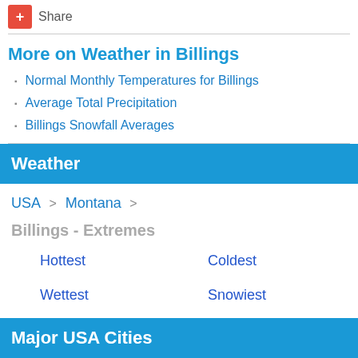+ Share
More on Weather in Billings
Normal Monthly Temperatures for Billings
Average Total Precipitation
Billings Snowfall Averages
Weather
USA > Montana >
Billings - Extremes
Hottest
Coldest
Wettest
Snowiest
Major USA Cities